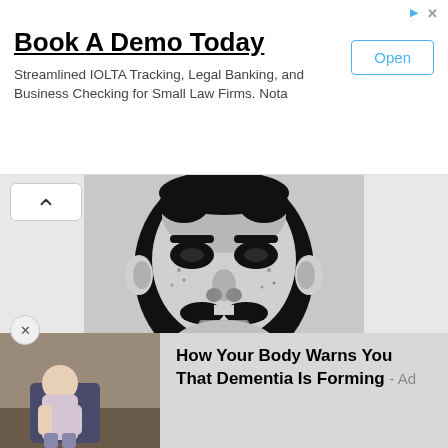[Figure (screenshot): Mobile web advertisement banner: 'Book A Demo Today' for IOLTA Tracking and Legal Banking with an 'Open' button]
Book A Demo Today
Streamlined IOLTA Tracking, Legal Banking, and Business Checking for Small Law Firms. Nota
[Figure (illustration): High-contrast black and white illustration of a face with a mustache, resembling a historical portrait printed in dot-matrix or halftone style]
[Figure (screenshot): Bottom advertisement strip showing a photo of an elderly person sitting down and text: 'How Your Body Warns You That Dementia Is Forming - Ad']
How Your Body Warns You That Dementia Is Forming - Ad